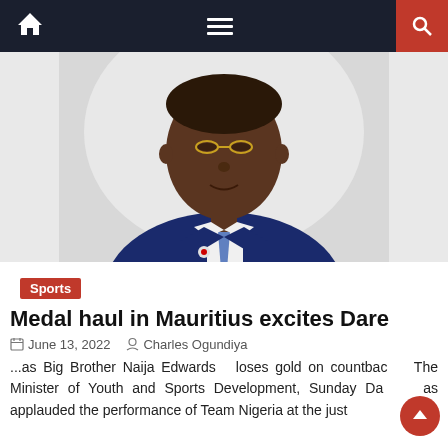Navigation bar with home icon, hamburger menu, and search icon
[Figure (photo): Portrait photo of a Black man in a navy blue suit with a blue tie and glasses, against a light background]
Sports
Medal haul in Mauritius excites Dare
June 13, 2022   Charles Ogundiya
...as Big Brother Naija Edwards  loses gold on countbac   The Minister of Youth and Sports Development, Sunday Da   as applauded the performance of Team Nigeria at the just